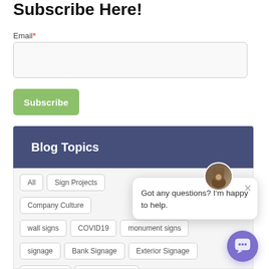Subscribe Here!
Email*
Subscribe
Blog Topics
All
Sign Projects
Company Culture
wall signs
COVID19
monument signs
signage
Bank Signage
Exterior Signage
Wayfinding
signage design
Got any questions? I'm happy to help.